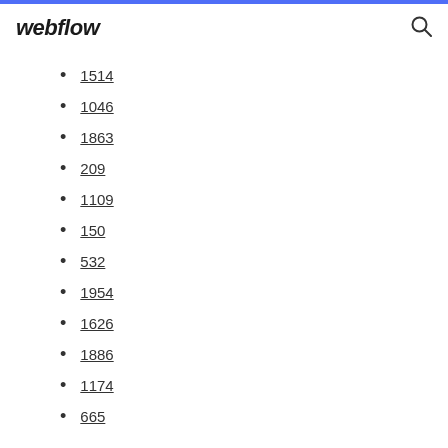webflow
1514
1046
1863
209
1109
150
532
1954
1626
1886
1174
665